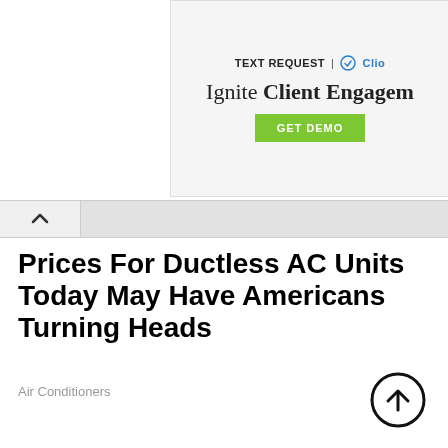[Figure (screenshot): Advertisement banner for Text Request and Clio: 'Ignite Client Engagement' with a green GET DEMO button]
[Figure (illustration): Navigation bar with a chevron/up-arrow collapse button on the left and a gray bar extending to the right]
Prices For Ductless AC Units Today May Have Americans Turning Heads
Air Conditioners
[Figure (illustration): Circular scroll-to-top arrow icon in the bottom right corner]